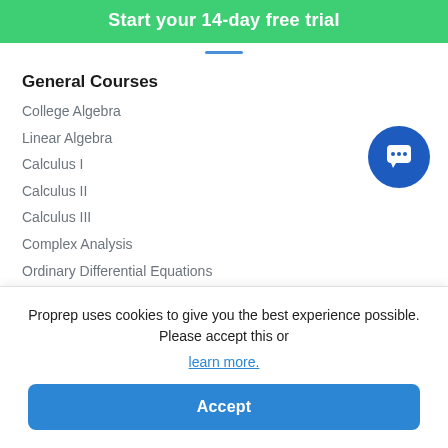Start your 14-day free trial
General Courses
College Algebra
Linear Algebra
Calculus I
Calculus II
Calculus III
Complex Analysis
Ordinary Differential Equations
Proprep uses cookies to give you the best experience possible. Please accept this or learn more.
Accept